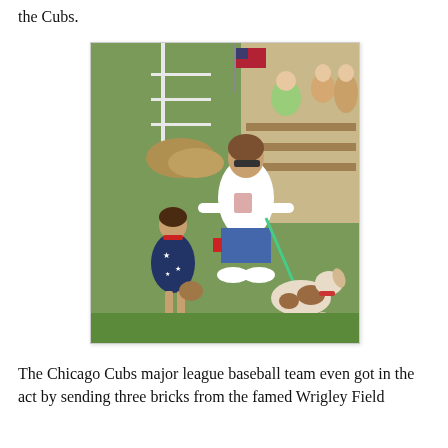the Cubs.
[Figure (photo): A woman in a white t-shirt and blue shorts holds a green leash attached to a goat at an outdoor fair or petting zoo. A young girl in a navy star-print dress stands nearby. Spectators sit on bleachers in the background with an American flag visible.]
The Chicago Cubs major league baseball team even got in the act by sending three bricks from the famed Wrigley Field